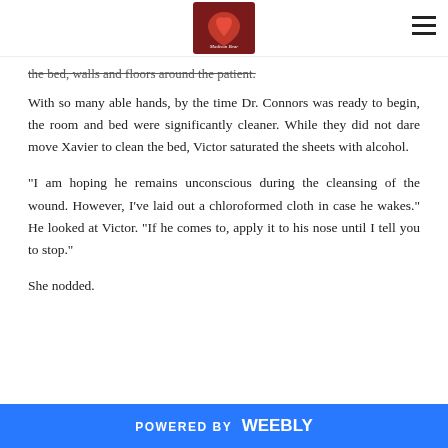[Logo image: Madison Bear]
the bed, walls and floors around the patient.
With so many able hands, by the time Dr. Connors was ready to begin, the room and bed were significantly cleaner. While they did not dare move Xavier to clean the bed, Victor saturated the sheets with alcohol.
“I am hoping he remains unconscious during the cleansing of the wound. However, I’ve laid out a chloroformed cloth in case he wakes.” He looked at Victor. “If he comes to, apply it to his nose until I tell you to stop.”
She nodded.
POWERED BY weebly